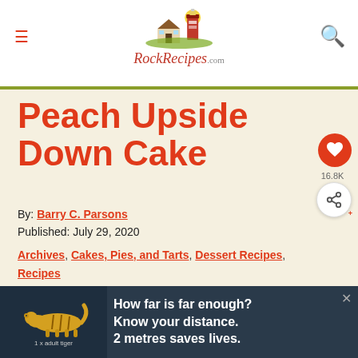[Figure (logo): RockRecipes.com logo with lighthouse and farmhouse illustration]
Peach Upside Down Cake
By: Barry C. Parsons
Published: July 29, 2020
Archives, Cakes, Pies, and Tarts, Dessert Recipes, Recipes
[Figure (infographic): Advertisement banner: tiger illustration with text 'How far is far enough? Know your distance. 2 metres saves lives. 1 x adult tiger'. What's Next panel showing Old Fashioned Apple Upside Down [Cake].]